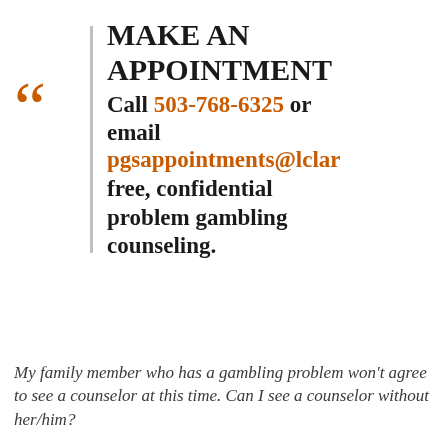MAKE AN APPOINTMENT
Call 503-768-6325 or email pgsappointments@lclar free, confidential problem gambling counseling.
My family member who has a gambling problem won't agree to see a counselor at this time. Can I see a counselor without her/him?